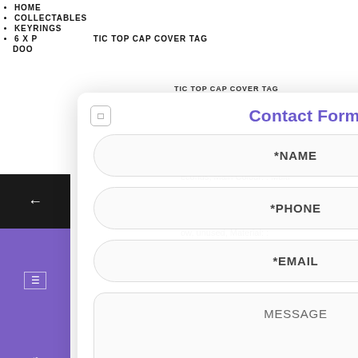HOME
COLLECTABLES
KEYRINGS
6 X P... TIC TOP CAP COVER TAG DOO...
Detach... ng slip the cap over the key econds, Main Colour: : Multi Key Finder, Key Cap, Key per Key Caps Coloured e all condition definitions : ow, unused, Material: : em, Features: : Belt Chain,
[Figure (screenshot): Contact Form modal overlay with input fields for NAME, PHONE, EMAIL, and MESSAGE on a white rounded rectangle background]
Contact Form
*NAME
*PHONE
*EMAIL
MESSAGE
oloured Covers Plastic Top Cap Cover
[Figure (screenshot): Left sidebar with back arrow, purple Contact Us section, blue icon section, and gradient section]